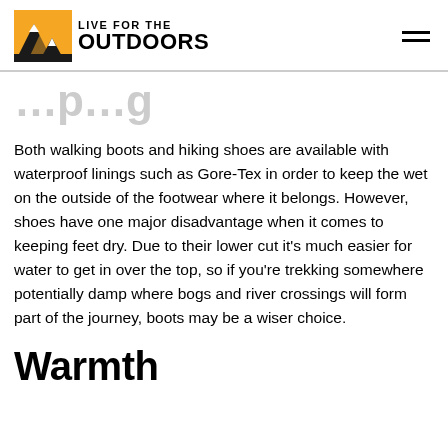LIVE FOR THE OUTDOORS
…p…g
Both walking boots and hiking shoes are available with waterproof linings such as Gore-Tex in order to keep the wet on the outside of the footwear where it belongs. However, shoes have one major disadvantage when it comes to keeping feet dry. Due to their lower cut it's much easier for water to get in over the top, so if you're trekking somewhere potentially damp where bogs and river crossings will form part of the journey, boots may be a wiser choice.
Warmth